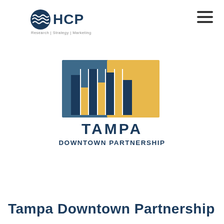[Figure (logo): HCP Research Strategy Marketing logo with globe icon and tagline]
[Figure (logo): Tampa Downtown Partnership logo with stylized building bars in blue and gold colors]
Tampa Downtown Partnership